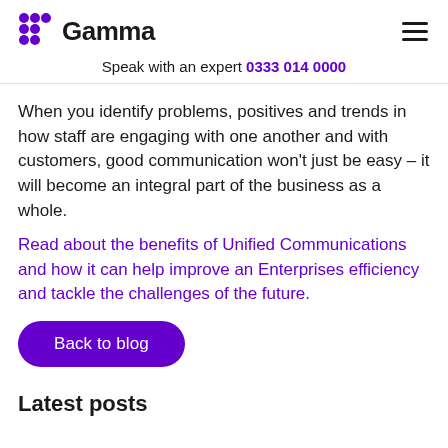Gamma — Speak with an expert 0333 014 0000
When you identify problems, positives and trends in how staff are engaging with one another and with customers, good communication won't just be easy – it will become an integral part of the business as a whole.
Read about the benefits of Unified Communications and how it can help improve an Enterprises efficiency and tackle the challenges of the future.
Back to blog
Latest posts